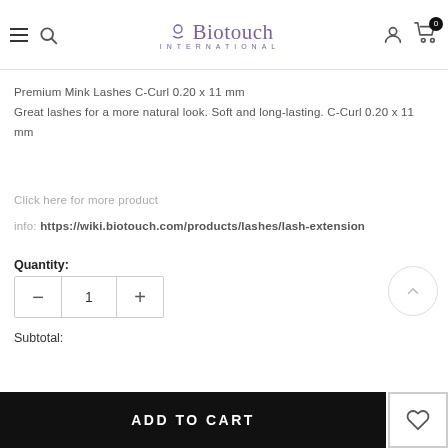Biotouch International — navigation header with hamburger, search, logo, user, and cart icons
Premium Mink Lashes C-Curl 0.20 x 11 mm
Great lashes for a more natural look. Soft and long-lasting. C-Curl 0.20 x 11 mm
Click here for more product info: https://wiki.biotouch.com/products/lashes/lash-extension
Quantity:
1
Subtotal:
ADD TO CART